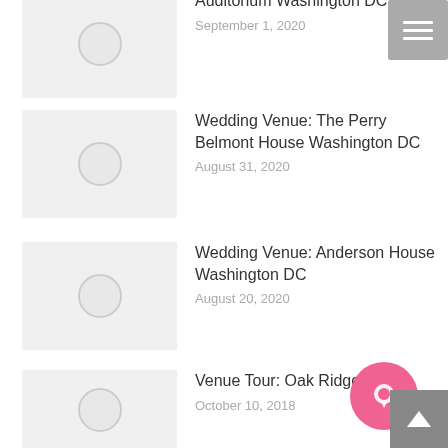[Figure (screenshot): Thumbnail placeholder with circle icon for Auditorium Washington DC post]
Auditorium Washington DC
September 1, 2020
[Figure (screenshot): Thumbnail placeholder with circle icon for Wedding Venue: The Perry Belmont House Washington DC post]
Wedding Venue: The Perry Belmont House Washington DC
August 31, 2020
[Figure (screenshot): Thumbnail placeholder with circle icon for Wedding Venue: Anderson House Washington DC post]
Wedding Venue: Anderson House Washington DC
August 20, 2020
[Figure (screenshot): Thumbnail placeholder with circle icon for Venue Tour: Oak Ridge Estate post]
Venue Tour: Oak Ridge Estate
October 10, 2018